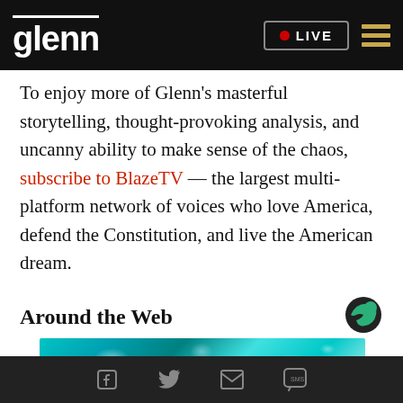glenn | LIVE
To enjoy more of Glenn's masterful storytelling, thought-provoking analysis, and uncanny ability to make sense of the chaos, subscribe to BlazeTV — the largest multi-platform network of voices who love America, defend the Constitution, and live the American dream.
Around the Web
[Figure (photo): Turquoise/teal colored background image, appears to show liquid or glass objects]
Social share icons: Facebook, Twitter, Email, SMS